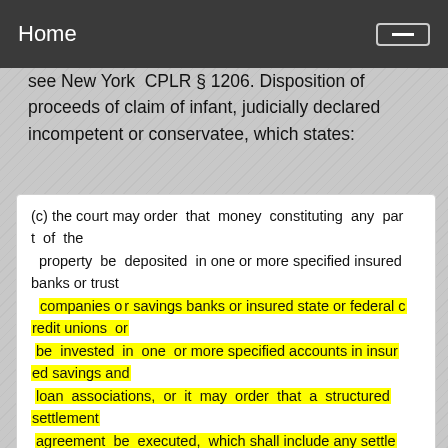Home
see New York CPLR § 1206. Disposition of proceeds of claim of infant, judicially declared incompetent or conservatee, which states:
(c) the court may order that money constituting any part of the property be deposited in one or more specified insured banks or trust companies or savings banks or insured state or federal credit unions or be invested in one or more specified accounts in insured savings and loan associations, or it may order that a structured settlement agreement be executed, which shall include any settlement whose terms contain provisions for the payment of funds on an installment basis, provided that with respect to future installment payments, the court may